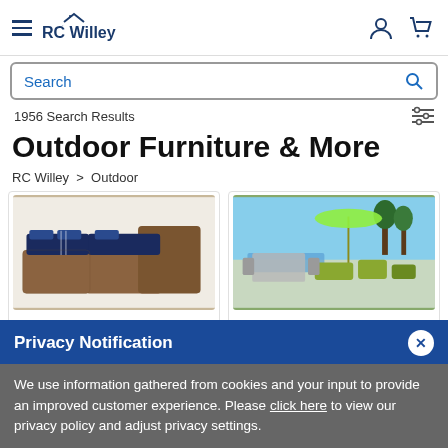RC Willey
Search
1956 Search Results
Outdoor Furniture & More
RC Willey > Outdoor
[Figure (photo): Tortola 3 Piece Outdoor Patio Sectional Sofa - wicker sectional with navy blue cushions]
Tortola 3 Piece Outdoor Patio Sectional Sofa
$3399.99
[Figure (photo): Cannes Green 20 Piece Estate Patio Set - outdoor patio furniture with green cushions and umbrella by pool]
Cannes Green 20 Piece Estate Patio Set
$8899.99
Privacy Notification
We use information gathered from cookies and your input to provide an improved customer experience. Please click here to view our privacy policy and adjust privacy settings.